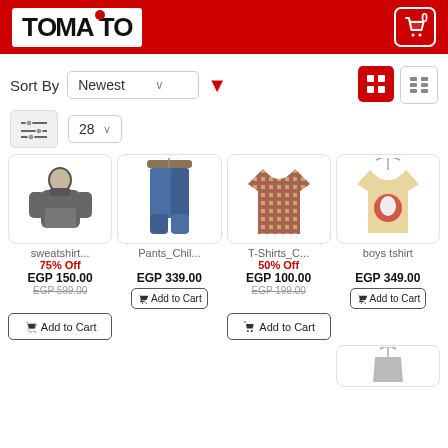TOMATO - e-commerce header with search, menu, and cart icons
Sort By  Newest  ▼
28 ▼
[Figure (photo): Boy wearing grey hoodie sweatshirt]
[Figure (photo): Blue denim jeans on hanger]
[Figure (photo): Patterned T-shirt with geometric print]
[Figure (photo): Beige boys tshirt with cartoon print on hanger]
sweatshirt...
75% Off
EGP 150.00
EGP 599.00
Pants_Chil...
EGP 339.00
T-Shirts_C...
50% Off
EGP 100.00
EGP 199.00
boys tshirt
EGP 349.00
Add to Cart
Add to Cart
Add to Cart
Add to Cart